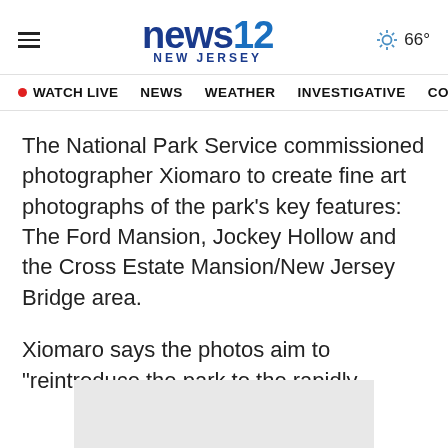news12 NEW JERSEY | 66°
WATCH LIVE  NEWS  WEATHER  INVESTIGATIVE  CO
The National Park Service commissioned photographer Xiomaro to create fine art photographs of the park's key features: The Ford Mansion, Jockey Hollow and the Cross Estate Mansion/New Jersey Bridge area.
Xiomaro says the photos aim to "reintroduce the park to the rapidly changing global and statewide communities it serves in the 21st